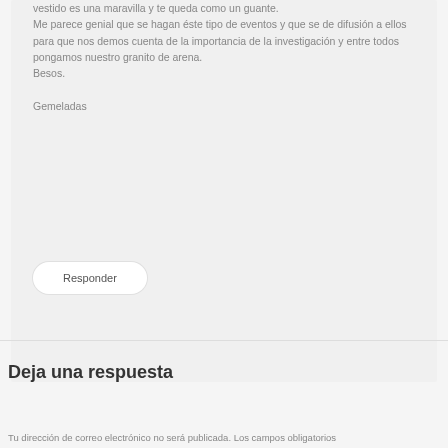vestido es una maravilla y te queda como un guante.
Me parece genial que se hagan éste tipo de eventos y que se de difusión a ellos para que nos demos cuenta de la importancia de la investigación y entre todos pongamos nuestro granito de arena.
Besos.

Gemeladas
Responder
Deja una respuesta
Tu dirección de correo electrónico no será publicada. Los campos obligatorios